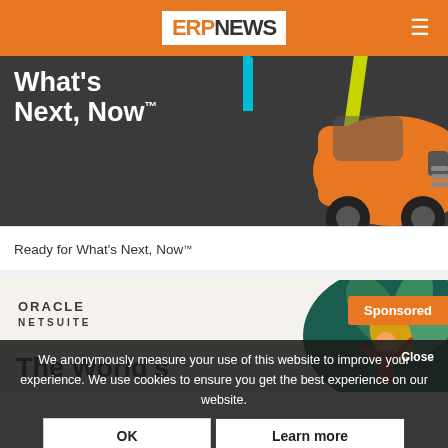ERPNEWS
[Figure (illustration): Dark banner with white bold text 'What's Next, Now™' and orange car with yellow/cyan stripes on right side]
Ready for What's Next, Now™
[Figure (illustration): Oracle NetSuite sponsored card with plant/person illustration on right side, 'Sponsored' badge in orange, and bold text 'The World's' visible]
We anonymously measure your use of this website to improve your experience. We use cookies to ensure you get the best experience on our website.